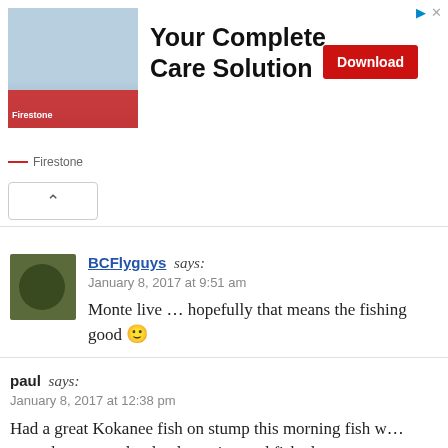[Figure (other): Firestone advertisement banner showing a building image on left, bold text 'Your Complete Care Solution', a red Download button, and Firestone branding at bottom]
BCFlyguys says:
January 8, 2017 at 9:51 am

Monte live … hopefully that means the fishing good 🙂
paul says:
January 8, 2017 at 12:38 pm

Had a great Kokanee fish on stump this morning fish w… we only managed to land one 4 pound fish almost ever… interested in our flashers very frustrating. Oh well it wa…